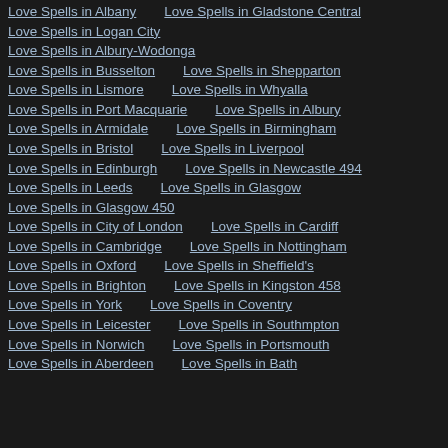Love Spells in Albany   Love Spells in Gladstone Central
Love Spells in Logan City
Love Spells in Albury-Wodonga
Love Spells in Busselton   Love Spells in Shepparton
Love Spells in Lismore   Love Spells in Whyalla
Love Spells in Port Macquarie   Love Spells in Albury
Love Spells in Armidale   Love Spells in Birmingham
Love Spells in Bristol   Love Spells in Liverpool
Love Spells in Edinburgh   Love Spells in Newcastle 494
Love Spells in Leeds   Love Spells in Glasgow
Love Spells in Glasgow 450
Love Spells in City of London   Love Spells in Cardiff
Love Spells in Cambridge   Love Spells in Nottingham
Love Spells in Oxford   Love Spells in Sheffield's
Love Spells in Brighton   Love Spells in Kingston 458
Love Spells in York   Love Spells in Coventry
Love Spells in Leicester   Love Spells in Southmpton
Love Spells in Norwich   Love Spells in Portsmouth
Love Spells in Aberdeen   Love Spells in Bath